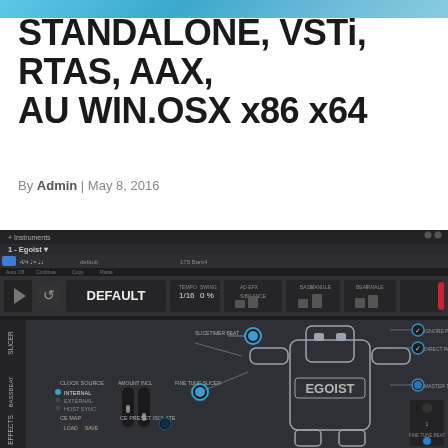STANDALONE, VSTi, RTAS, AAX, AU WIN.OSX x86 x64
By Admin | May 8, 2016
[Figure (screenshot): Screenshot of Egoist software instrument plugin interface showing a dark UI with DEFAULT preset, slicer/bass/beat modules, and a robot mascot diagram labeled EGOIST with annotations for clock source, fine tune slicer, layer program change, direct pattern change, master tune, and other controls.]